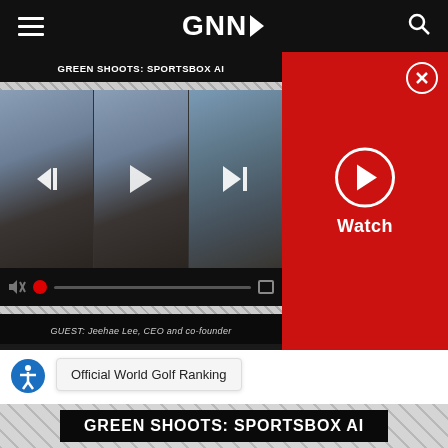GNN (Golf News Network) navigation bar
[Figure (screenshot): Video player widget showing 'GREEN SHOOTS: SPORTSBOX AI' with two video thumbnails (a woman and a man), playback controls, and a red panel with Watch button. Guest label: GUEST: Jeehae Lee, CEO and co-founder]
Official World Golf Ranking
[Figure (screenshot): Lower video section showing 'GREEN SHOOTS: SPORTSBOX AI' title bar over a tiled/diagonal stripe background, followed by a video frame with two people (woman on left, man on right)]